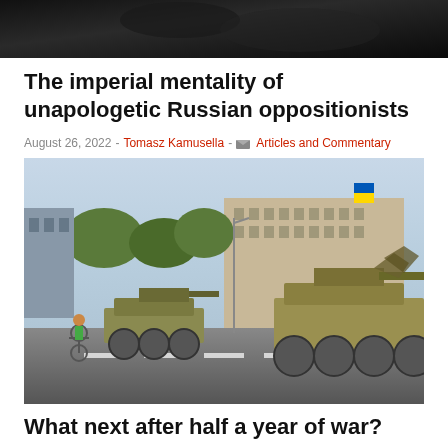[Figure (photo): Dark overhead photo, partially visible, likely interior or vehicle]
The imperial mentality of unapologetic Russian oppositionists
August 26, 2022 · Tomasz Kamusella · Articles and Commentary
[Figure (photo): Street scene in Kyiv showing destroyed and captured Russian military tanks lined up on a city boulevard, with a cyclist passing by and buildings including one with Ukrainian flags in the background]
What next after half a year of war?